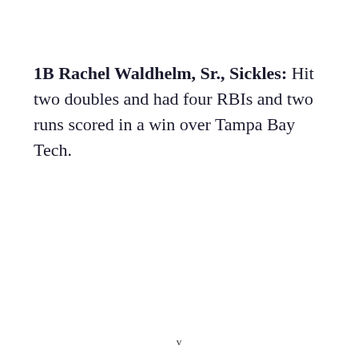1B Rachel Waldhelm, Sr., Sickles: Hit two doubles and had four RBIs and two runs scored in a win over Tampa Bay Tech.
v